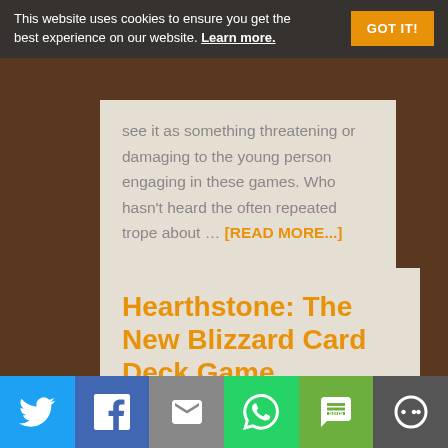This website uses cookies to ensure you get the best experience on our website. Learn more.
see it as something threatening or damaging to the young person engaging in these games. Who hasn't heard the often repeated trope about … [READ MORE...]
Hearthstone: The New Blizzard Card Deck Game
[Figure (other): Social share bar with Twitter, Facebook, Email, WhatsApp, SMS, and More buttons]